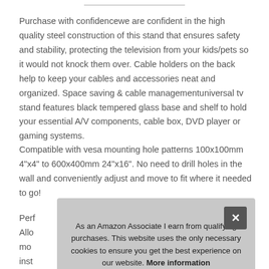Purchase with confidencewe are confident in the high quality steel construction of this stand that ensures safety and stability, protecting the television from your kids/pets so it would not knock them over. Cable holders on the back help to keep your cables and accessories neat and organized. Space saving & cable managementuniversal tv stand features black tempered glass base and shelf to hold your essential A/V components, cable box, DVD player or gaming systems.
Compatible with vesa mounting hole patterns 100x100mm 4"x4" to 600x400mm 24"x16". No need to drill holes in the wall and conveniently adjust and move to fit where it needed to go!
Perf
Allo
mo
inst
inst
As an Amazon Associate I earn from qualifying purchases. This website uses the only necessary cookies to ensure you get the best experience on our website. More information